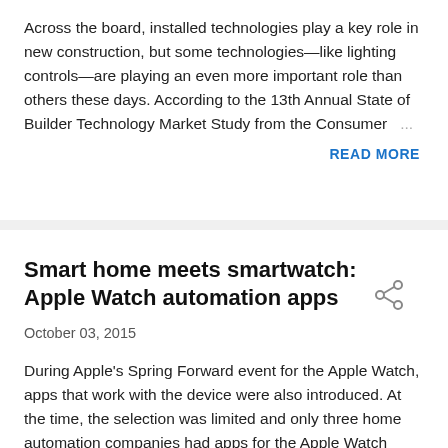Across the board, installed technologies play a key role in new construction, but some technologies—like lighting controls—are playing an even more important role than others these days. According to the 13th Annual State of Builder Technology Market Study from the Consumer …
READ MORE
Smart home meets smartwatch: Apple Watch automation apps
October 03, 2015
During Apple's Spring Forward event for the Apple Watch, apps that work with the device were also introduced. At the time, the selection was limited and only three home automation companies had apps for the Apple Watch which included Lutron Electronics Co., Inc.'s Caséta Wireless, …